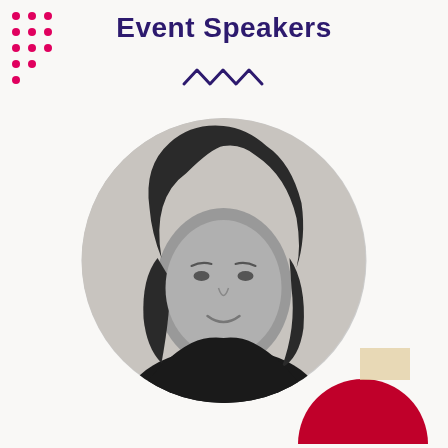Event Speakers
[Figure (illustration): Zigzag/squiggle decorative line in dark purple/navy color]
[Figure (photo): Black and white circular portrait photo of a woman with medium-length wavy dark hair, smiling slightly, wearing dark clothing. Photo is inside a light gray circle.]